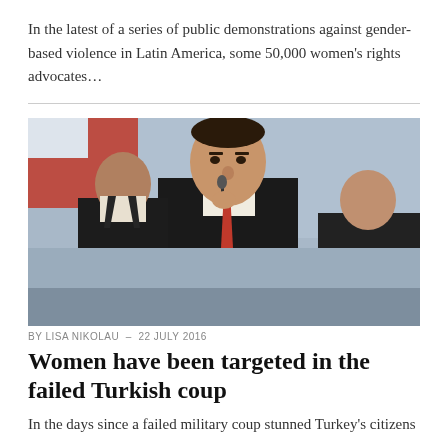In the latest of a series of public demonstrations against gender-based violence in Latin America, some 50,000 women's rights advocates…
[Figure (photo): A man in a dark suit speaking into a microphone, flanked by two other men, against a blurred background with red and blue elements. Likely a political figure giving a speech.]
BY LISA NIKOLAU – 22 JULY 2016
Women have been targeted in the failed Turkish coup
In the days since a failed military coup stunned Turkey's citizens